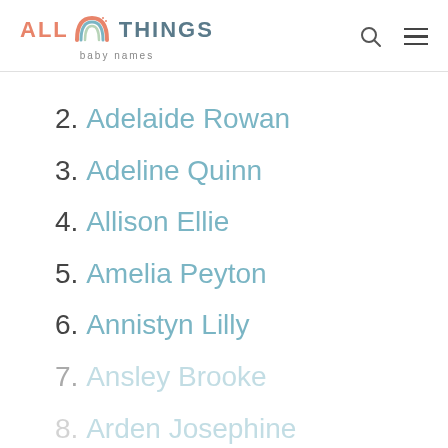[Figure (logo): All Things Baby Names logo with rainbow icon]
2. Adelaide Rowan
3. Adeline Quinn
4. Allison Ellie
5. Amelia Peyton
6. Annistyn Lilly
7. Ansley Brooke
8. Arden Josephine